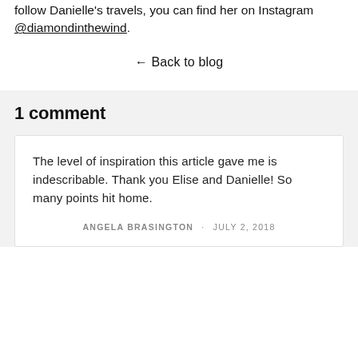follow Danielle's travels, you can find her on Instagram @diamondinthewind.
← Back to blog
1 comment
The level of inspiration this article gave me is indescribable. Thank you Elise and Danielle! So many points hit home.
ANGELA BRASINGTON · JULY 2, 2018